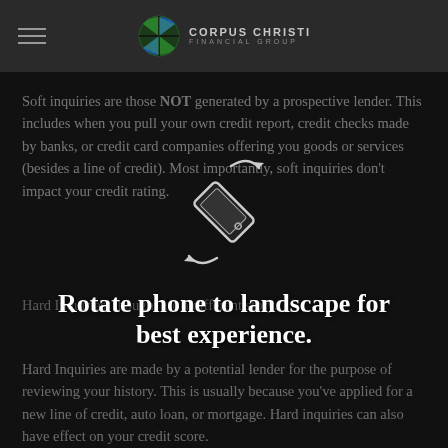Corpus Christi Financial Group
Soft inquiries are those NOT generated by a prospective lender. This includes when you pull your own credit report, credit checks made by banks, or credit card companies offering you goods or services (besides a line of credit). Most importantly, soft inquiries don't impact your credit rating.
[Figure (illustration): Rotate phone to landscape icon — a smartphone shown diagonally with rotation arrows, and overlay text reading 'Rotate phone to landscape for best experience.']
Hard Inquiries, though, are a different story.
Hard Inquiries are made by a potential lender for the purpose of reviewing your history. This is usually because you've applied for a new line of credit, auto loan, or mortgage. Hard inquiries can also have effect on your credit score.